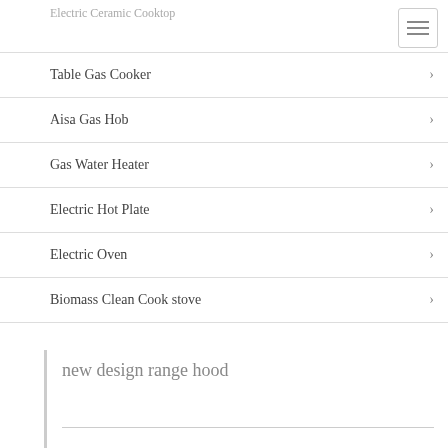Electric Ceramic Cooktop
Table Gas Cooker
Aisa Gas Hob
Gas Water Heater
Electric Hot Plate
Electric Oven
Biomass Clean Cook stove
new design range hood